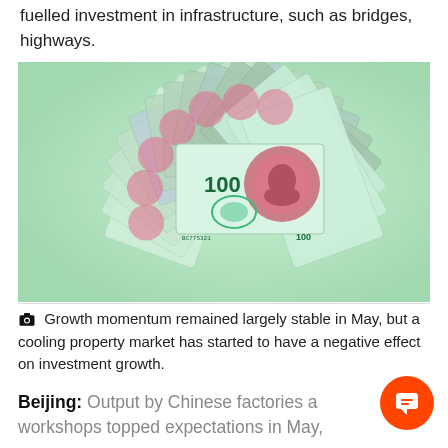fuelled investment in infrastructure, such as bridges, highways.
[Figure (photo): A spiral arrangement of Chinese 100 yuan renminbi banknotes fanned out in a circular pattern, showing Mao Zedong's portrait on the front of the notes.]
Growth momentum remained largely stable in May, but a cooling property market has started to have a negative effect on investment growth.
Beijing: Output by Chinese factories and workshops topped expectations in May,